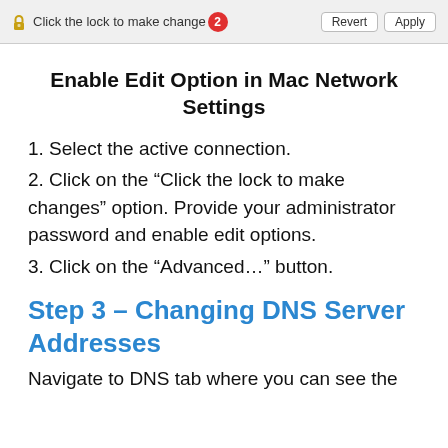[Figure (screenshot): Mac Network Settings toolbar showing a lock icon, 'Click the lock to make changes' text with a red badge showing '2', and Revert/Apply buttons on the right.]
Enable Edit Option in Mac Network Settings
1. Select the active connection.
2. Click on the “Click the lock to make changes” option. Provide your administrator password and enable edit options.
3. Click on the “Advanced…” button.
Step 3 – Changing DNS Server Addresses
Navigate to DNS tab where you can see the